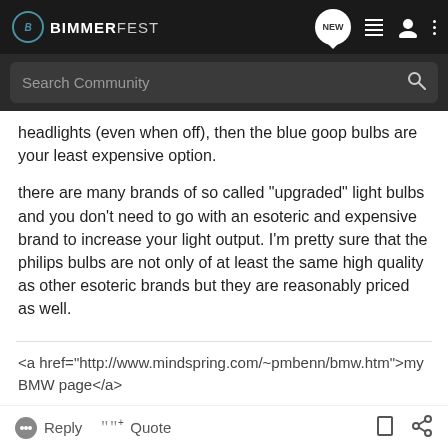BIMMERFEST — Navigation bar with search
headlights (even when off), then the blue goop bulbs are your least expensive option.
there are many brands of so called "upgraded" light bulbs and you don't need to go with an esoteric and expensive brand to increase your light output. I'm pretty sure that the philips bulbs are not only of at least the same high quality as other esoteric brands but they are reasonably priced as well.
<a href="http://www.mindspring.com/~pmbenn/bmw.htm">my BMW page</a>
Reply  Quote